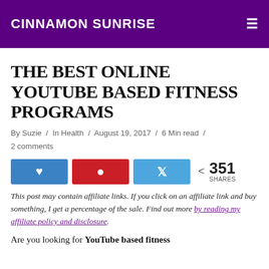CINNAMON SUNRISE
THE BEST ONLINE YOUTUBE BASED FITNESS PROGRAMS
By Suzie / In Health / August 19, 2017 / 6 Min read / 2 comments
[Figure (infographic): Social share buttons: Facebook (blue), Pinterest (red), Twitter (light blue), and a share count showing 351 SHARES]
This post may contain affiliate links. If you click on an affiliate link and buy something, I get a percentage of the sale. Find out more by reading my affiliate policy and disclosure.
Are you looking for YouTube based fitness